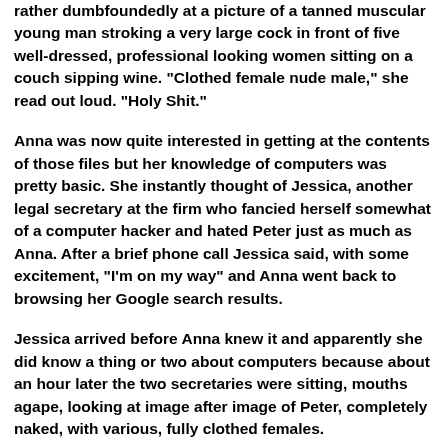rather dumbfoundedly at a picture of a tanned muscular young man stroking a very large cock in front of five well-dressed, professional looking women sitting on a couch sipping wine. "Clothed female nude male," she read out loud. "Holy Shit."
Anna was now quite interested in getting at the contents of those files but her knowledge of computers was pretty basic. She instantly thought of Jessica, another legal secretary at the firm who fancied herself somewhat of a computer hacker and hated Peter just as much as Anna. After a brief phone call Jessica said, with some excitement, "I'm on my way" and Anna went back to browsing her Google search results.
Jessica arrived before Anna knew it and apparently she did know a thing or two about computers because about an hour later the two secretaries were sitting, mouths agape, looking at image after image of Peter, completely naked, with various, fully clothed females.
"Oh my god, that's Mrs. Kellerman, she's a client." Anna